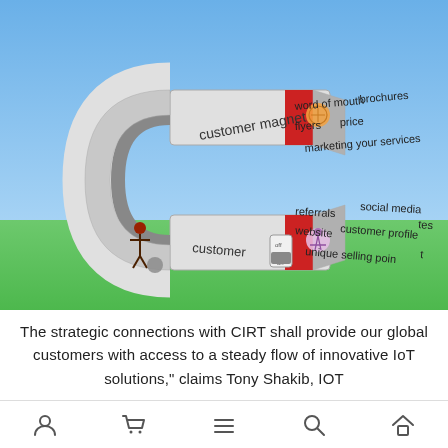[Figure (illustration): A horseshoe magnet shaped like the letter C labeled 'customer magnet' on the top arm and 'customer' on the bottom, with a red stripe and icons. Floating text labels around the right opening read: 'word of mouth', 'brochures', 'flyers', 'price', 'marketing your services' (top), and 'referrals', 'social media', 'website', 'customer profile', 'tes[timonials]', 'unique selling poin[t]' (bottom). A small stick figure pushes the magnet from the left. Background is blue sky and green ground.]
The strategic connections with CIRT shall provide our global customers with access to a steady flow of innovative IoT solutions," claims Tony Shakib, IOT
[navigation icons: user, cart, menu, search, home]